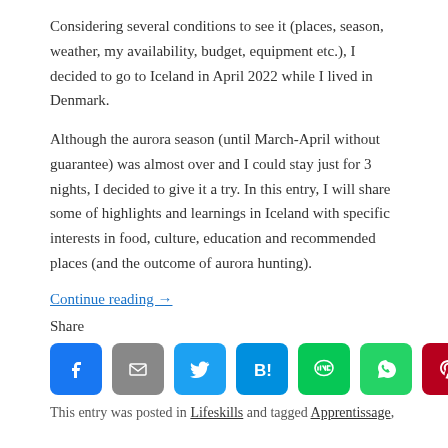Considering several conditions to see it (places, season, weather, my availability, budget, equipment etc.), I decided to go to Iceland in April 2022 while I lived in Denmark.
Although the aurora season (until March-April without guarantee) was almost over and I could stay just for 3 nights, I decided to give it a try. In this entry, I will share some of highlights and learnings in Iceland with specific interests in food, culture, education and recommended places (and the outcome of aurora hunting).
Continue reading →
Share
[Figure (infographic): Row of 8 social share icon buttons: Facebook (blue), Email (grey), Twitter (light blue), Hatena Bookmark (blue), LINE (green), WhatsApp (green), Pinterest (dark red), Pocket (pink/red)]
This entry was posted in Lifeskills and tagged Apprentissage,